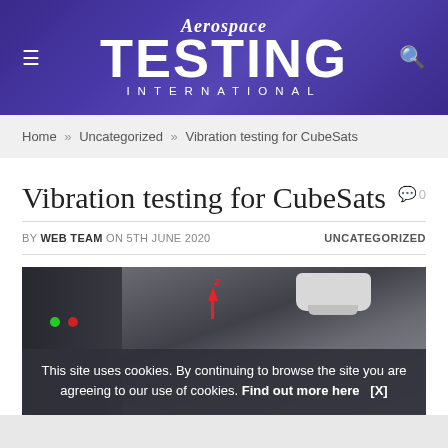Aerospace TESTING INTERNATIONAL
Home » Uncategorized » Vibration testing for CubeSats
Vibration testing for CubeSats
BY WEB TEAM ON 5TH JUNE 2020   UNCATEGORIZED
[Figure (photo): Photo of testing equipment with a red upward arrow labeled Z, and a white device component visible in the upper right. A cookie consent overlay reads: This site uses cookies. By continuing to browse the site you are agreeing to our use of cookies. Find out more here [X]]